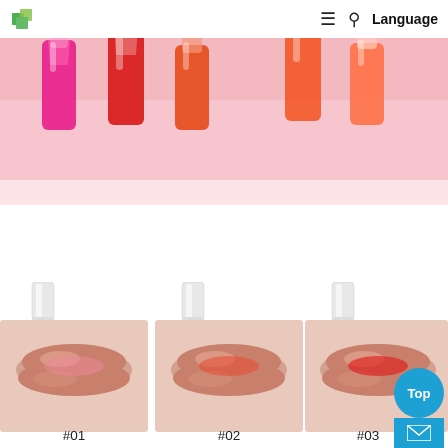[Figure (screenshot): Website navigation bar with green cube logo on left, hamburger menu, search icon, and Language text on right, white background]
[Figure (photo): Hero banner showing multiple colorful lip gloss bottles (pink, red, orange) arranged on a pink background]
[Figure (photo): Three lip gloss product images side by side: #01 sheer pink lip gloss with bottle, #02 coral-red lip gloss with bottle, #03 bright red lip gloss with bottle. Each shows a close-up of lips with the product applied.]
#01
#02
#03